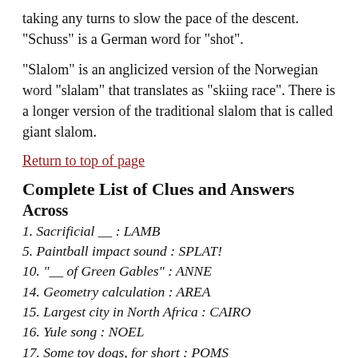taking any turns to slow the pace of the descent. "Schuss" is a German word for "shot".
"Slalom" is an anglicized version of the Norwegian word "slalam" that translates as "skiing race". There is a longer version of the traditional slalom that is called giant slalom.
Return to top of page
Complete List of Clues and Answers
Across
1. Sacrificial __ : LAMB
5. Paintball impact sound : SPLAT!
10. "__ of Green Gables" : ANNE
14. Geometry calculation : AREA
15. Largest city in North Africa : CAIRO
16. Yule song : NOEL
17. Some toy dogs, for short : POMS